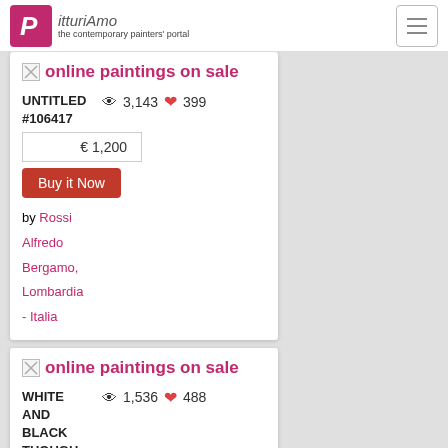PitturiAmo - the contemporary painters' portal
online paintings on sale
UNTITLED #106417
3,143 views · 399 likes
€ 1,200
Buy it Now
by Rossi Alfredo
Bergamo, Lombardia - Italia
online paintings on sale
WHITE AND BLACK THOUGHTS
1,536 views · 488 likes